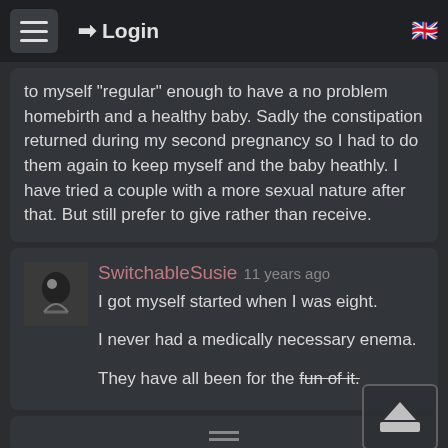Login
to myself "regular" enough to have a no problem homebirth and a healthy baby. Sadly the constipation returned during my second pregnancy so I had to do them again to keep myself and the baby heathly. I have tried a couple with a more sexual nature after that. But still prefer to give rather than receive.
SwitchableSusie 11 years ago
I got myself started when I was eight.

I never had a medically necessary enema.

They have all been for the fun of it.